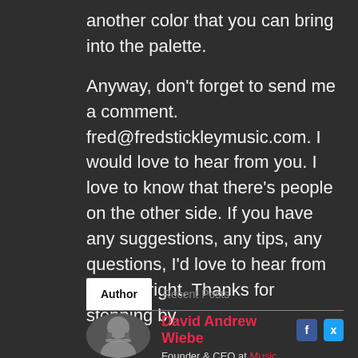another color that you can bring into the palette.
Anyway, don't forget to send me a comment. fred@fredstickleymusic.com. I would love to hear from you. I love to know that there's people on the other side. If you have any suggestions, any tips, any questions, I'd love to hear from you. All right. Thanks for stopping by.
Author | Recent Posts
David Andrew Wiebe — Founder & CEO at Music Entrepreneur HQ